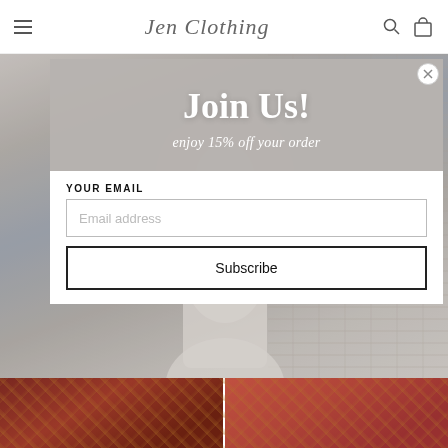Jen Clothing
[Figure (photo): Screenshot of a fashion e-commerce website showing a modal popup with a woman in a lace dress, header navigation with hamburger menu, Jen Clothing logo, search and cart icons, and product thumbnails at the bottom.]
Join Us!
enjoy 15% off your order
YOUR EMAIL
Email address
Subscribe